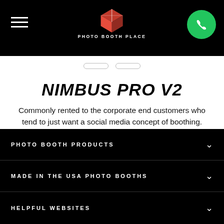PHOTO BOOTH PLACE
NIMBUS PRO V2
Commonly rented to the corporate end customers who tend to just want a social media concept of boothing.
BUY A PHOTO BOOTH
PHOTO BOOTH PRODUCTS
MADE IN THE USA PHOTO BOOTHS
HELPFUL WEBSITES